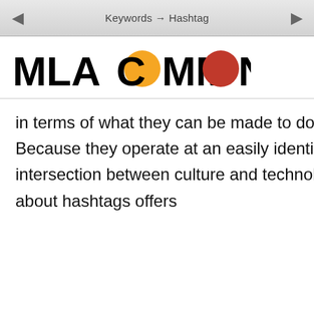Keywords → Hashtag
[Figure (logo): MLA Commons logo with orange and red speech bubble Os]
in terms of what they can be made to do or signify. Because they operate at an easily identifiable intersection between culture and technology, thinking about hashtags offers
CONTENTS
COMMENTS
ACTIVITY
Welcome
Description
How to Comment
Keywords
Access (George H. Williams)
Affect (Elizabeth Losh)
Annotation (Paul Schacht)
Archive (Lauren